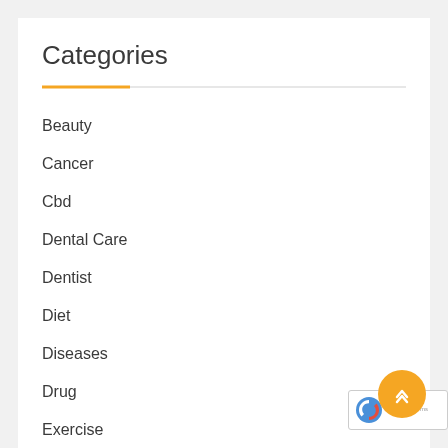Categories
Beauty
Cancer
Cbd
Dental Care
Dentist
Diet
Diseases
Drug
Exercise
Fit